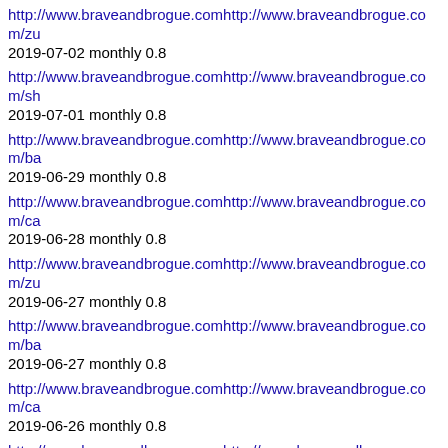http://www.braveandbrogue.comhttp://www.braveandbrogue.com/zu 2019-07-02 monthly 0.8
http://www.braveandbrogue.comhttp://www.braveandbrogue.com/sh 2019-07-01 monthly 0.8
http://www.braveandbrogue.comhttp://www.braveandbrogue.com/ba 2019-06-29 monthly 0.8
http://www.braveandbrogue.comhttp://www.braveandbrogue.com/ca 2019-06-28 monthly 0.8
http://www.braveandbrogue.comhttp://www.braveandbrogue.com/zu 2019-06-27 monthly 0.8
http://www.braveandbrogue.comhttp://www.braveandbrogue.com/ba 2019-06-27 monthly 0.8
http://www.braveandbrogue.comhttp://www.braveandbrogue.com/ca 2019-06-26 monthly 0.8
http://www.braveandbrogue.comhttp://www.braveandbrogue.com/zu 2019-06-26 monthly 0.8
http://www.braveandbrogue.comhttp://www.braveandbrogue.com/ba 2019-06-24 monthly 0.8
http://www.braveandbrogue.comhttp://www.braveandbrogue.com/zu 2019-06-19 monthly 0.8
http://www.braveandbrogue.comhttp://www.braveandbrogue.com/ba 2019-06-18 monthly 0.8
http://www.braveandbrogue.comhttp://www.braveandbrogue.com/zu 2019-06-18 monthly 0.8
http://www.braveandbrogue.comhttp://www.braveandbrogue.com/sh